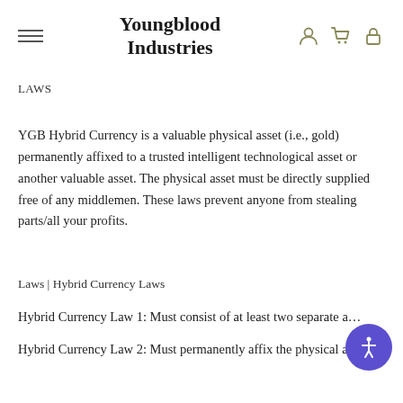Youngblood Industries
LAWS
YGB Hybrid Currency is a valuable physical asset (i.e., gold) permanently affixed to a trusted intelligent technological asset or another valuable asset. The physical asset must be directly supplied free of any middlemen. These laws prevent anyone from stealing parts/all your profits.
Laws | Hybrid Currency Laws
Hybrid Currency Law 1: Must consist of at least two separate a…
Hybrid Currency Law 2: Must permanently affix the physical assets